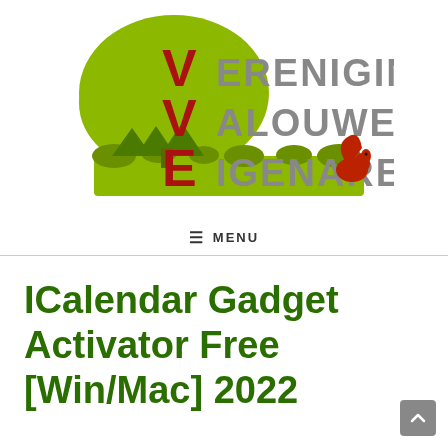[Figure (logo): VVE logo - Vereniging Van Oude Eigenaren with green tree and red squirrel illustration]
≡ MENU
ICalendar Gadget Activator Free [Win/Mac] 2022